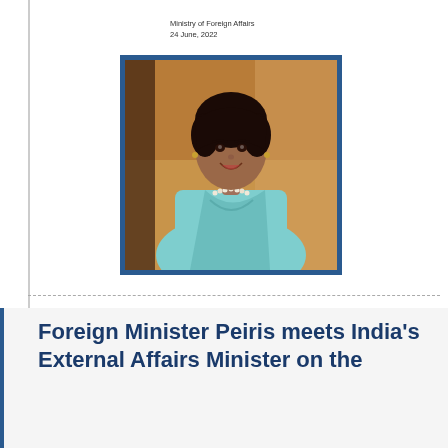Ministry of Foreign Affairs
24 June, 2022
[Figure (photo): Official portrait photograph of Foreign Minister Peiris, a woman wearing a light blue/teal outfit and pearl necklace, smiling, with a warm brown background]
Foreign Minister Peiris meets India's External Affairs Minister on the